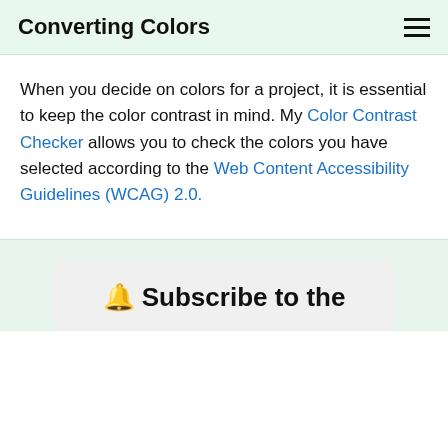Converting Colors
When you decide on colors for a project, it is essential to keep the color contrast in mind. My Color Contrast Checker allows you to check the colors you have selected according to the Web Content Accessibility Guidelines (WCAG) 2.0.
🔔 Subscribe to the